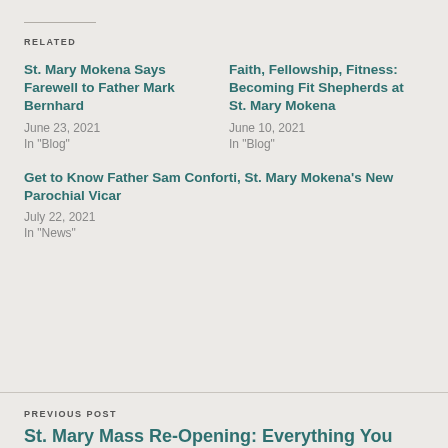RELATED
St. Mary Mokena Says Farewell to Father Mark Bernhard
June 23, 2021
In "Blog"
Faith, Fellowship, Fitness: Becoming Fit Shepherds at St. Mary Mokena
June 10, 2021
In "Blog"
Get to Know Father Sam Conforti, St. Mary Mokena's New Parochial Vicar
July 22, 2021
In "News"
PREVIOUS POST
St. Mary Mass Re-Opening: Everything You